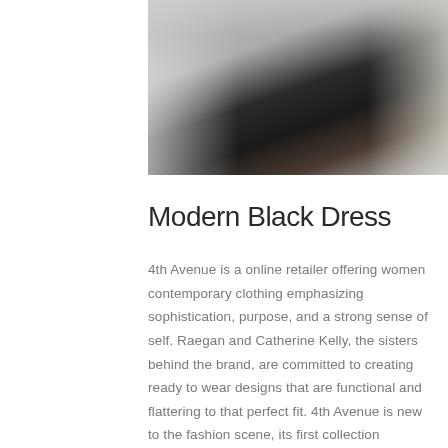[Figure (photo): Woman wearing a long black dress with high-low hem, standing outdoors against light-colored architectural background]
Modern Black Dress
4th Avenue is a online retailer offering women contemporary clothing emphasizing sophistication, purpose, and a strong sense of self. Raegan and Catherine Kelly, the sisters behind the brand, are committed to creating ready to wear designs that are functional and flattering to that perfect fit. 4th Avenue is new to the fashion scene, its first collection launched in Spring '15, but the brand is quickly making a name for itself in the contemporary clothing